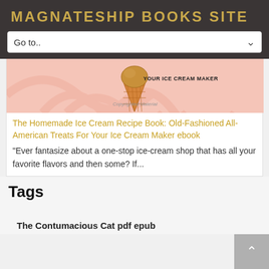MAGNATESHIP BOOKS SITE
Go to..
[Figure (illustration): Book cover for The Homemade Ice Cream Recipe Book showing an ice cream cone on a pink striped background with the text 'YOUR ICE CREAM MAKER' and a copyright watermark.]
The Homemade Ice Cream Recipe Book: Old-Fashioned All-American Treats For Your Ice Cream Maker ebook
"Ever fantasize about a one-stop ice-cream shop that has all your favorite flavors and then some? If...
Tags
The Contumacious Cat pdf epub